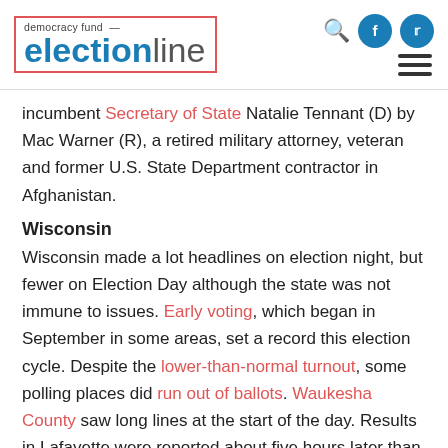[Figure (logo): Democracy Fund electionline logo with red border, blue 'election' and grey 'line' text, plus search, Facebook, Twitter icons and hamburger menu]
incumbent Secretary of State Natalie Tennant (D) by Mac Warner (R), a retired military attorney, veteran and former U.S. State Department contractor in Afghanistan.
Wisconsin
Wisconsin made a lot headlines on election night, but fewer on Election Day although the state was not immune to issues. Early voting, which began in September in some areas, set a record this election cycle. Despite the lower-than-normal turnout, some polling places did run out of ballots. Waukesha County saw long lines at the start of the day. Results in Lafayette were reported about five hours later than all other Chippewa County towns